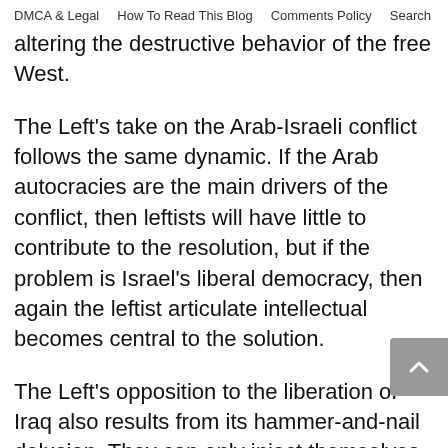DMCA & Legal   How To Read This Blog   Comments Policy   Search
altering the destructive behavior of the free West.
The Left's take on the Arab-Israeli conflict follows the same dynamic. If the Arab autocracies are the main drivers of the conflict, then leftists will have little to contribute to the resolution, but if the problem is Israel's liberal democracy, then again the leftist articulate intellectual becomes central to the solution.
The Left's opposition to the liberation of Iraq also results from its hammer-and-nail delusion. They can only inject themselves into the conflict by seeking to undermine the liberation and democratization of Iraq. Their ability to influence the anti-democratic forces is negligible, so any positive role that articulate intellectuals could play